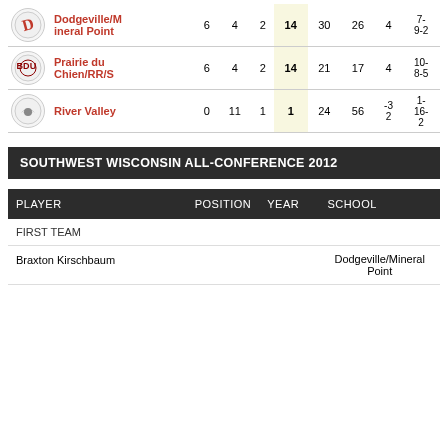|  | Team |  |  |  | PTS |  |  |  |  |
| --- | --- | --- | --- | --- | --- | --- | --- | --- | --- |
| [logo] | Dodgeville/Mineral Point | 6 | 4 | 2 | 14 | 30 | 26 | 4 | 7-9-2 |
| [logo] | Prairie du Chien/RR/S | 6 | 4 | 2 | 14 | 21 | 17 | 4 | 10-8-5 |
| [logo] | River Valley | 0 | 11 | 1 | 1 | 24 | 56 | -32 | 1-16-2 |
SOUTHWEST WISCONSIN ALL-CONFERENCE 2012
| PLAYER | POSITION | YEAR | SCHOOL |
| --- | --- | --- | --- |
| FIRST TEAM |  |  |  |
| Braxton Kirschbaum |  |  | Dodgeville/Mineral Point |